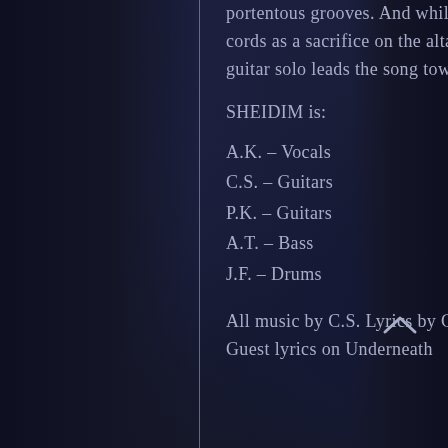portentous grooves. And while guest vocalist NSK (Teitanblood) offers his vocal cords as a sacrifice on the altar of black/death metal, a gut-wrenching and hypnotic guitar solo leads the song towards its ultimate, desolate end.
SHEIDIM is:
A.K. – Vocals
C.S. – Guitars
P.K. – Guitars
A.T. – Bass
J.F. – Drums
All music by C.S. Lyrics by C.S. & A.T.
Guest lyrics on Underneath